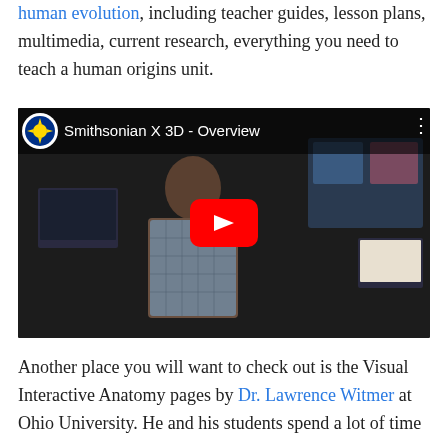human evolution, including teacher guides, lesson plans, multimedia, current research, everything you need to teach a human origins unit.
[Figure (screenshot): YouTube video thumbnail showing a man in a plaid shirt standing in a classroom/lab with screens and models, with a YouTube play button overlay. Video title: Smithsonian X 3D - Overview]
Another place you will want to check out is the Visual Interactive Anatomy pages by Dr. Lawrence Witmer at Ohio University. He and his students spend a lot of time scanning fossils and producing interactive medical CT...